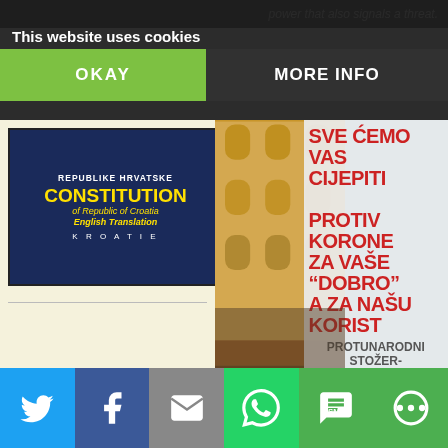power that also signals a threat.
This website uses cookies
OKAY
MORE INFO
[Figure (photo): Book cover: Constitution of Republic of Croatia - English Translation, dark blue background with yellow text]
[Figure (photo): Protest photo showing a banner in Croatian reading: SVE ĆEMO VAS CIJEPITI PROTIV KORONE ZA VAŠE 'DOBRO' A ZA NAŠU KORIST PROTUNARODNI STOŽER-, with a yellow building in the background]
SVE ĆEMO VAS CIJEPITI PROTIV KORONE ZA VAŠE "DOBRO" A ZA NAŠU KORIST PROTUNARODNI STOŽER-